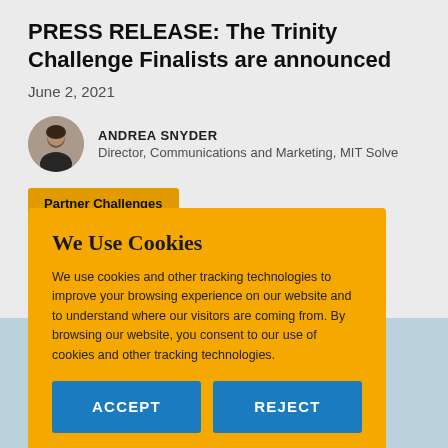PRESS RELEASE: The Trinity Challenge Finalists are announced
June 2, 2021
ANDREA SNYDER
Director, Communications and Marketing, MIT Solve
Partner Challenges
[Figure (screenshot): Cookie consent modal overlay on a yellow/orange background with title 'We Use Cookies', body text about tracking technologies, and two blue buttons labeled ACCEPT and REJECT]
We Use Cookies
We use cookies and other tracking technologies to improve your browsing experience on our website and to understand where our visitors are coming from. By browsing our website, you consent to our use of cookies and other tracking technologies.